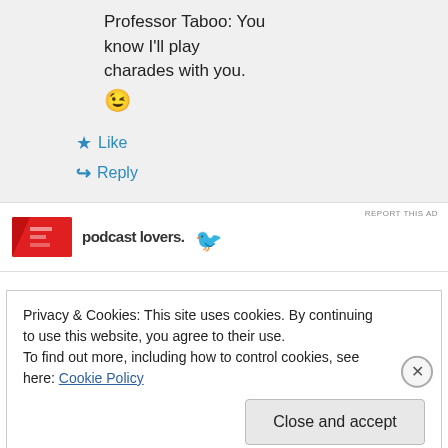Professor Taboo: You know I'll play charades with you. 😉
★ Like
↪ Reply
[Figure (screenshot): Advertisement banner for 'podcast lovers.' with red logo and bird icon]
REPORT THIS AD
Privacy & Cookies: This site uses cookies. By continuing to use this website, you agree to their use.
To find out more, including how to control cookies, see here: Cookie Policy
Close and accept